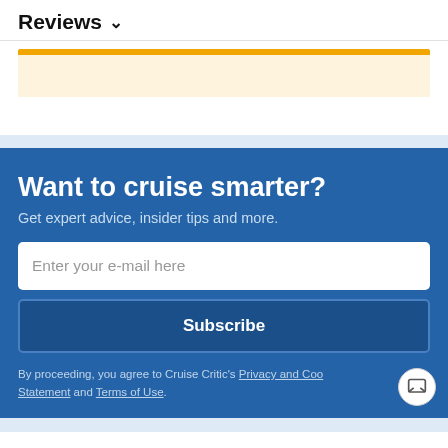Reviews ∨
[Figure (other): Partial banner with orange top border and light yellow background]
Want to cruise smarter?
Get expert advice, insider tips and more.
Enter your e-mail here
Subscribe
By proceeding, you agree to Cruise Critic's Privacy and Coo Statement and Terms of Use.